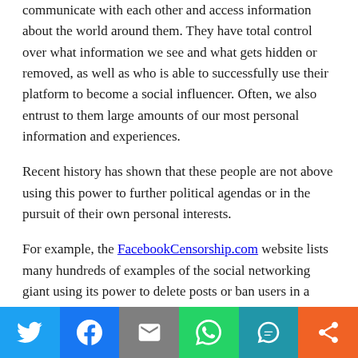communicate with each other and access information about the world around them. They have total control over what information we see and what gets hidden or removed, as well as who is able to successfully use their platform to become a social influencer. Often, we also entrust to them large amounts of our most personal information and experiences.
Recent history has shown that these people are not above using this power to further political agendas or in the pursuit of their own personal interests.
For example, the FacebookCensorship.com website lists many hundreds of examples of the social networking giant using its power to delete posts or ban users in a politically biased way, including extensive cooperation with less than
[Figure (infographic): Social share bar with 6 buttons: Twitter (blue), Facebook (blue), Email (grey), WhatsApp (green), SMS (teal), More (orange)]